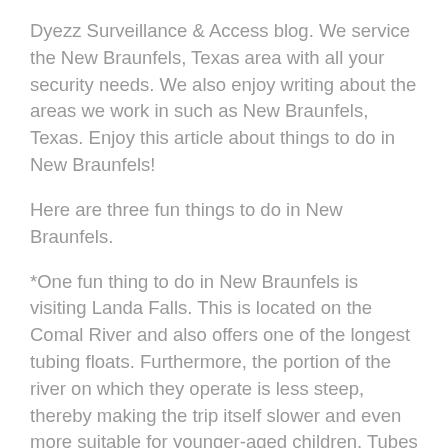Dyezz Surveillance & Access blog. We service the New Braunfels, Texas area with all your security needs. We also enjoy writing about the areas we work in such as New Braunfels, Texas. Enjoy this article about things to do in New Braunfels!
Here are three fun things to do in New Braunfels.
*One fun thing to do in New Braunfels is visiting Landa Falls. This is located on the Comal River and also offers one of the longest tubing floats. Furthermore, the portion of the river on which they operate is less steep, thereby making the trip itself slower and even more suitable for younger-aged children. Tubes either with or without bottoms are available, and life vests are also provided at absolutely no charge whatsoever.
*Another fun thing to do in New Braunfels is visiting the New Braunfels Farmers Market. Taking